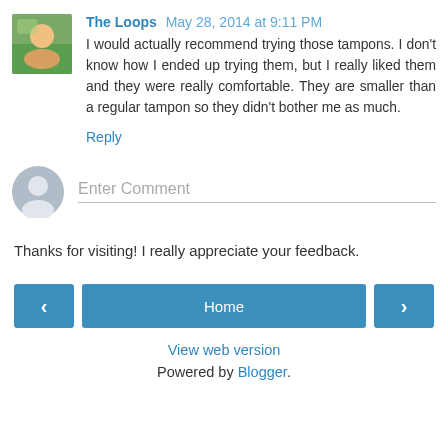The Loops May 28, 2014 at 9:11 PM
I would actually recommend trying those tampons. I don't know how I ended up trying them, but I really liked them and they were really comfortable. They are smaller than a regular tampon so they didn't bother me as much.
Reply
Enter Comment
Thanks for visiting! I really appreciate your feedback.
Home
View web version
Powered by Blogger.